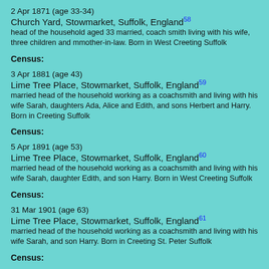2 Apr 1871 (age 33-34)
Church Yard, Stowmarket, Suffolk, England58
head of the household aged 33 married, coach smith living with his wife, three children and mmother-in-law. Born in West Creeting Suffolk
Census:
3 Apr 1881 (age 43)
Lime Tree Place, Stowmarket, Suffolk, England59
married head of the household working as a coachsmith and living with his wife Sarah, daughters Ada, Alice and Edith, and sons Herbert and Harry. Born in Creeting Suffolk
Census:
5 Apr 1891 (age 53)
Lime Tree Place, Stowmarket, Suffolk, England60
married head of the household working as a coachsmith and living with his wife Sarah, daughter Edith, and son Harry. Born in West Creeting Suffolk
Census:
31 Mar 1901 (age 63)
Lime Tree Place, Stowmarket, Suffolk, England61
married head of the household working as a coachsmith and living with his wife Sarah, and son Harry. Born in Creeting St. Peter Suffolk
Census:
2 Apr 1911 (age 73-74)
41 Lime Tree Place, Stowmarket, Suffolk, England62
head of the household aged 73 married, retired coachsmith living in five rooms with his wife. Born in Creeting St Peter Suffolk
Death:
Q3 1921 (age 84)